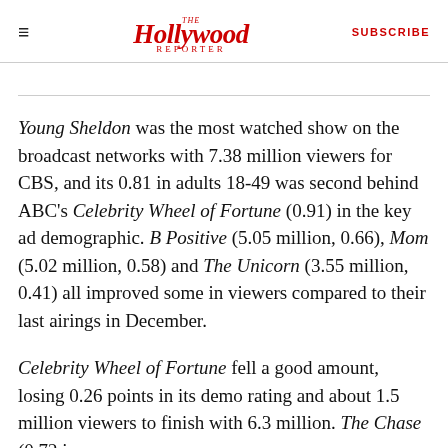The Hollywood Reporter | SUBSCRIBE
Young Sheldon was the most watched show on the broadcast networks with 7.38 million viewers for CBS, and its 0.81 in adults 18-49 was second behind ABC's Celebrity Wheel of Fortune (0.91) in the key ad demographic. B Positive (5.05 million, 0.66), Mom (5.02 million, 0.58) and The Unicorn (3.55 million, 0.41) all improved some in viewers compared to their last airings in December.
Celebrity Wheel of Fortune fell a good amount, losing 0.26 points in its demo rating and about 1.5 million viewers to finish with 6.3 million. The Chase (0.72 in